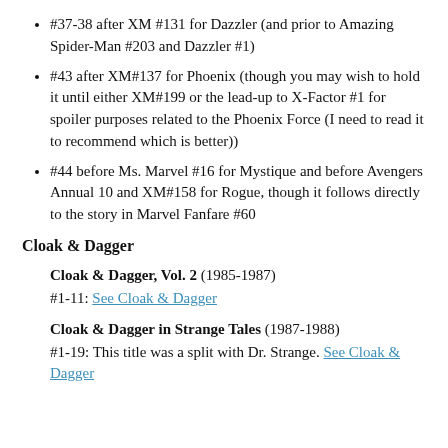#37-38 after XM #131 for Dazzler (and prior to Amazing Spider-Man #203 and Dazzler #1)
#43 after XM#137 for Phoenix (though you may wish to hold it until either XM#199 or the lead-up to X-Factor #1 for spoiler purposes related to the Phoenix Force (I need to read it to recommend which is better))
#44 before Ms. Marvel #16 for Mystique and before Avengers Annual 10 and XM#158 for Rogue, though it follows directly to the story in Marvel Fanfare #60
Cloak & Dagger
Cloak & Dagger, Vol. 2 (1985-1987)
#1-11: See Cloak & Dagger
Cloak & Dagger in Strange Tales (1987-1988)
#1-19: This title was a split with Dr. Strange. See Cloak & Dagger